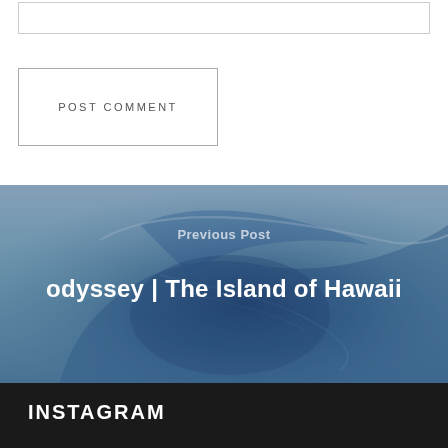[Figure (screenshot): Input text box (comment field) at the top of a webpage, white background with thin gray border]
POST COMMENT
[Figure (photo): Ocean wave photograph used as background for the Previous Post navigation section. Large curling blue wave.]
Previous Post
odyssey | The Island of Hawaii
INSTAGRAM